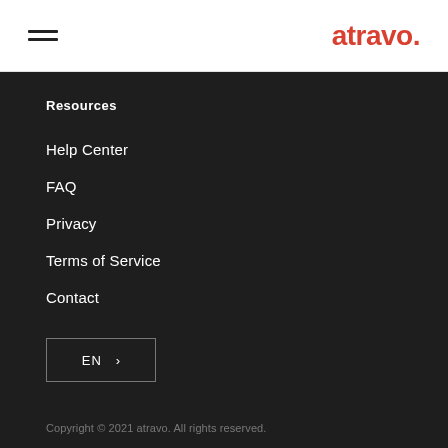atravo.
Resources
Help Center
FAQ
Privacy
Terms of Service
Contact
EN >
Copyright © 2021 atravo. All rights reserved.